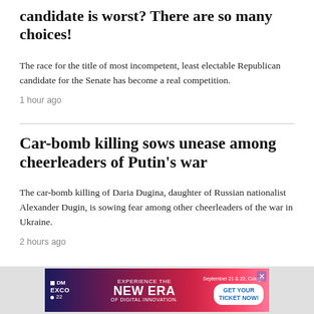candidate is worst? There are so many choices!
The race for the title of most incompetent, least electable Republican candidate for the Senate has become a real competition.
1 hour ago
Car-bomb killing sows unease among cheerleaders of Putin's war
The car-bomb killing of Daria Dugina, daughter of Russian nationalist Alexander Dugin, is sowing fear among other cheerleaders of the war in Ukraine.
2 hours ago
[Figure (infographic): Advertisement banner: DM EXCO 22 - Experience the New Era of Digital Innovation. September 21 & 22, Cologne. Get Your Ticket Now!]